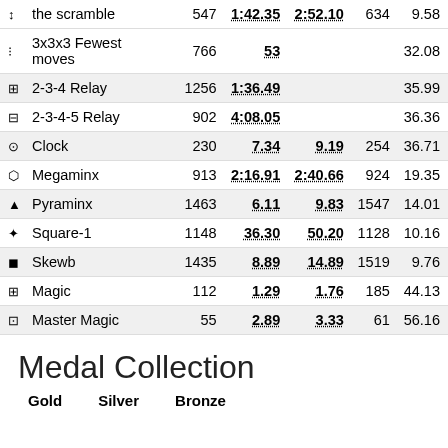| Event |  | Single | Average |  |  |
| --- | --- | --- | --- | --- | --- |
| the scramble | 547 | 1:42.35 | 2:52.10 | 634 | 9.58 |
| 3x3x3 Fewest moves | 766 | 53 |  |  | 32.08 |
| 2-3-4 Relay | 1256 | 1:36.49 |  |  | 35.99 |
| 2-3-4-5 Relay | 902 | 4:08.05 |  |  | 36.36 |
| Clock | 230 | 7.34 | 9.19 | 254 | 36.71 |
| Megaminx | 913 | 2:16.91 | 2:40.66 | 924 | 19.35 |
| Pyraminx | 1463 | 6.11 | 9.83 | 1547 | 14.01 |
| Square-1 | 1148 | 36.30 | 50.20 | 1128 | 10.16 |
| Skewb | 1435 | 8.89 | 14.89 | 1519 | 9.76 |
| Magic | 112 | 1.29 | 1.76 | 185 | 44.13 |
| Master Magic | 55 | 2.89 | 3.33 | 61 | 56.16 |
Medal Collection
Gold   Silver   Bronze